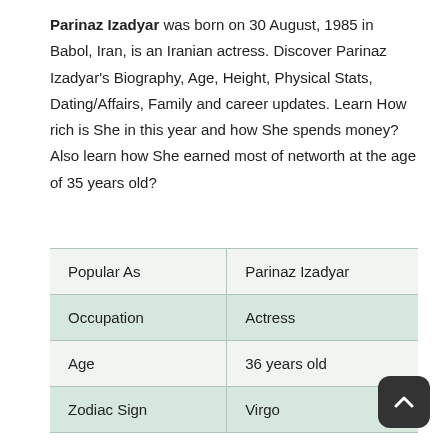Parinaz Izadyar was born on 30 August, 1985 in Babol, Iran, is an Iranian actress. Discover Parinaz Izadyar's Biography, Age, Height, Physical Stats, Dating/Affairs, Family and career updates. Learn How rich is She in this year and how She spends money? Also learn how She earned most of networth at the age of 35 years old?
| Popular As | Parinaz Izadyar |
| Occupation | Actress |
| Age | 36 years old |
| Zodiac Sign | Virgo |